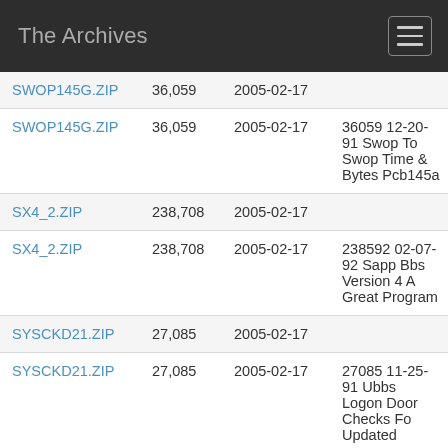The Archives
| Filename | Size | Date | Description |
| --- | --- | --- | --- |
| SWOP145G.ZIP | 36,059 | 2005-02-17 |  |
| SWOP145G.ZIP | 36,059 | 2005-02-17 | 36059 12-20-91 Swop To Swop Time & Bytes Pcb145a |
| SX4_2.ZIP | 238,708 | 2005-02-17 |  |
| SX4_2.ZIP | 238,708 | 2005-02-17 | 238592 02-07-92 Sapp Bbs Version 4 A Great Program |
| SYSCKD21.ZIP | 27,085 | 2005-02-17 |  |
| SYSCKD21.ZIP | 27,085 | 2005-02-17 | 27085 11-25-91 Ubbs Logon Door Checks Fo Updated |
| SYSINFO.ZIP | 3,414 | 2005-02-17 |  |
| SYSINFO.ZIP | 3,414 | 2005-02-17 | 3414 02-18-91 Shows Contents Of Sysinfo.bl (Qbbs/ra/sbbs) |